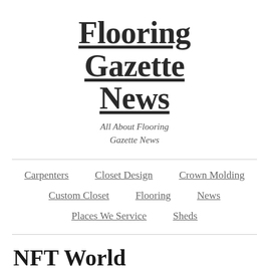Flooring Gazette News
All About Flooring Gazette News
Carpenters
Closet Design
Crown Molding
Custom Closet
Flooring
News
Places We Service
Sheds
NFT World